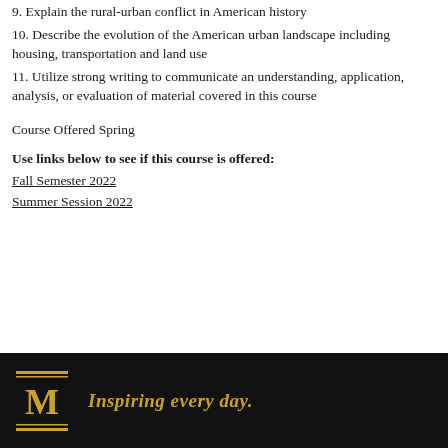9. Explain the rural-urban conflict in American history
10. Describe the evolution of the American urban landscape including housing, transportation and land use
11. Utilize strong writing to communicate an understanding, application, analysis, or evaluation of material covered in this course
Course Offered Spring
Use links below to see if this course is offered:
Fall Semester 2022
Summer Session 2022
Inspiring every day.